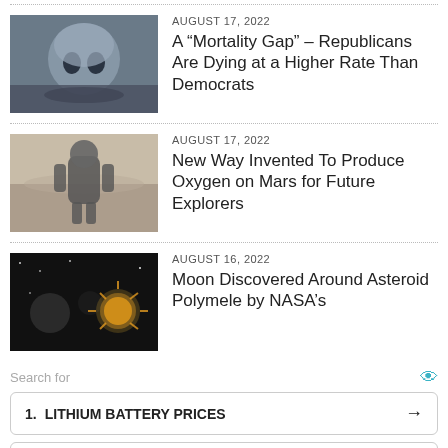[Figure (photo): Dark atmospheric image suggesting alien/skull-like spherical form in cloudy sky]
AUGUST 17, 2022
A “Mortality Gap” – Republicans Are Dying at a Higher Rate Than Democrats
[Figure (photo): Astronaut in spacesuit standing in hazy Martian landscape]
AUGUST 17, 2022
New Way Invented To Produce Oxygen on Mars for Future Explorers
[Figure (photo): Space scene with asteroid, moon, and glowing cosmic objects]
AUGUST 16, 2022
Moon Discovered Around Asteroid Polymele by NASA's
Search for
1.   LITHIUM BATTERY PRICES  →
2.   TOYOTA PRIUS BATTERY  →
Ad | Cellphone Guru